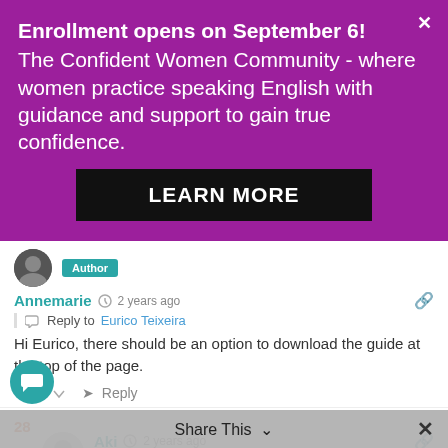Enrollment opens on September 6!
The Confident Women Community - where women practice speaking English with guidance and support to gain true confidence.
LEARN MORE
Author
Annemarie  2 years ago
Reply to Eurico Teixeira
Hi Eurico, there should be an option to download the guide at the top of the page.
0  Reply
28
Aki  2 years ago
I can't find the guid on 75 Powerful Words to use in
Share This